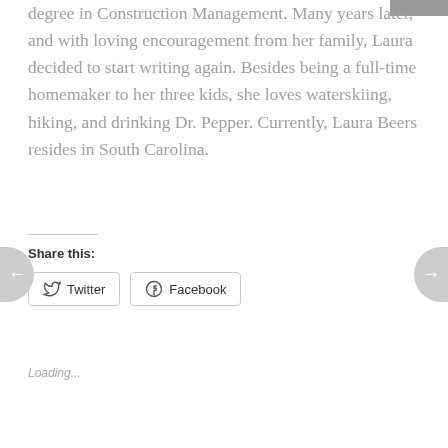degree in Construction Management. Many years later, and with loving encouragement from her family, Laura decided to start writing again. Besides being a full-time homemaker to her three kids, she loves waterskiing, hiking, and drinking Dr. Pepper. Currently, Laura Beers resides in South Carolina.
Share this:
Twitter
Facebook
Loading...